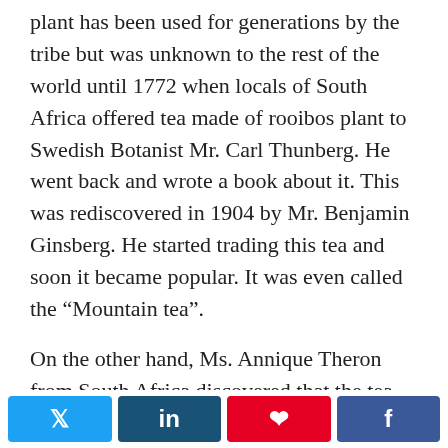plant has been used for generations by the tribe but was unknown to the rest of the world until 1772 when locals of South Africa offered tea made of rooibos plant to Swedish Botanist Mr. Carl Thunberg. He went back and wrote a book about it. This was rediscovered in 1904 by Mr. Benjamin Ginsberg. He started trading this tea and soon it became popular. It was even called the “Mountain tea”.
On the other hand, Ms. Annique Theron from South Africa discovered that the tea had a soothing and calming effect on people. On further research, it was found that it could be used for this plant could be used for treating skin ailments. She wrote a book about it. A company Forever Young introduced many products that were made of the
[Figure (other): Social sharing buttons: Twitter (blue), LinkedIn (dark blue), Pinterest (red), Facebook (dark blue)]